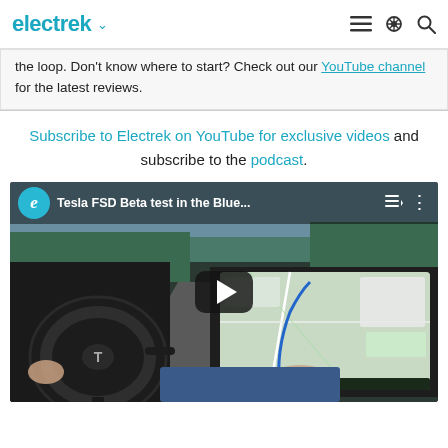electrek
the loop. Don't know where to start? Check out our YouTube channel for the latest reviews.
Subscribe to Electrek on YouTube for exclusive videos and subscribe to the podcast.
[Figure (screenshot): YouTube video thumbnail showing Tesla FSD Beta test in the Blue... with Electrek logo, steering wheel and Tesla touchscreen display inside car interior. Play button visible in center.]